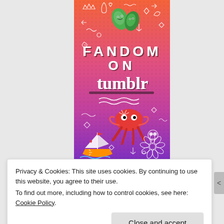[Figure (illustration): Tumblr 'Fandom on Tumblr' promotional banner image with orange-to-purple gradient background, doodle decorations, text 'FANDOM ON tumblr', cartoon stickers including green leaf characters, red octopus/squid, sailboat, and flower.]
Privacy & Cookies: This site uses cookies. By continuing to use this website, you agree to their use.
To find out more, including how to control cookies, see here: Cookie Policy
Close and accept